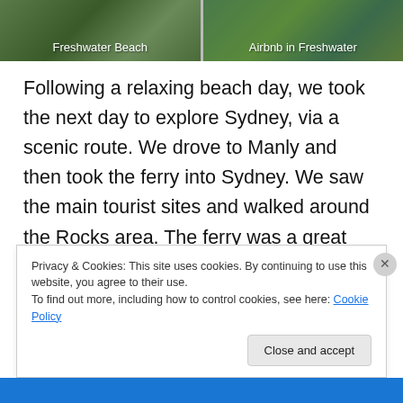[Figure (photo): Two side-by-side thumbnail images: left labeled 'Freshwater Beach', right labeled 'Airbnb in Freshwater']
Following a relaxing beach day, we took the next day to explore Sydney, via a scenic route. We drove to Manly and then took the ferry into Sydney. We saw the main tourist sites and walked around the Rocks area. The ferry was a great idea because you can't beat the view of coming in to see the the opera house and Harbour Bridge from the water.
Privacy & Cookies: This site uses cookies. By continuing to use this website, you agree to their use.
To find out more, including how to control cookies, see here: Cookie Policy
Close and accept